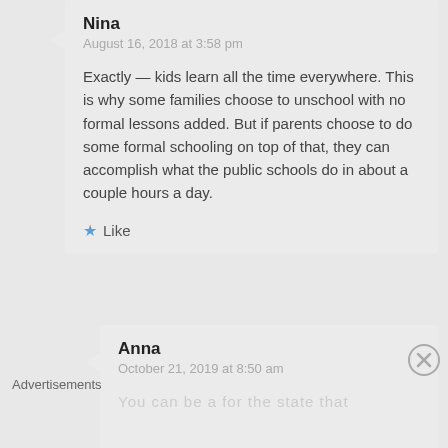Nina
August 16, 2018 at 3:58 pm
Exactly — kids learn all the time everywhere. This is why some families choose to unschool with no formal lessons added. But if parents choose to do some formal schooling on top of that, they can accomplish what the public schools do in about a couple hours a day.
Like
Anna
October 21, 2019 at 8:50 am
Advertisements